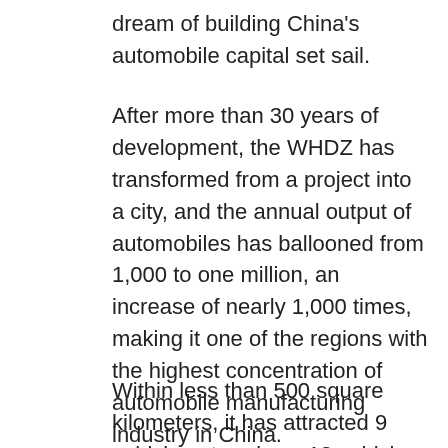dream of building China's automobile capital set sail.
After more than 30 years of development, the WHDZ has transformed from a project into a city, and the annual output of automobiles has ballooned from 1,000 to one million, an increase of nearly 1,000 times, making it one of the regions with the highest concentration of automobile manufacturing industry in China.
Within less than 500 square kilometers, it has attracted 9 vehicle enterprises, 13 vehicle factories that have been built or